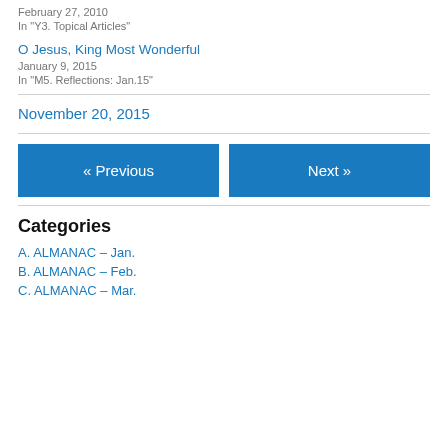February 27, 2010
In "Y3. Topical Articles"
O Jesus, King Most Wonderful
January 9, 2015
In "M5. Reflections: Jan.15"
November 20, 2015
« Previous
Next »
Categories
A. ALMANAC – Jan.
B. ALMANAC – Feb.
C. ALMANAC – Mar.